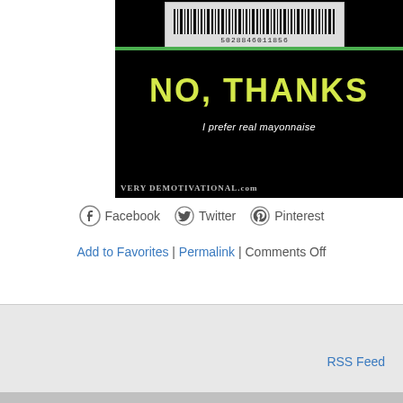[Figure (photo): Demotivational poster image with black background. Shows a product barcode at top reading '5028846011856', large yellow-green bold text 'NO, THANKS', white italic text 'I prefer real mayonnaise', and a watermark bar at bottom reading 'VERY DEMOTIVATIONAL.com']
Facebook   Twitter   Pinterest
Add to Favorites | Permalink | Comments Off
RSS Feed